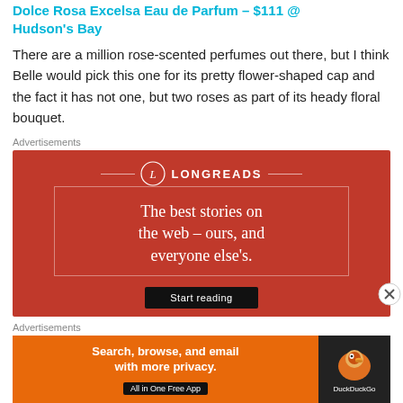Dolce Rosa Excelsa Eau de Parfum – $111 @ Hudson's Bay
There are a million rose-scented perfumes out there, but I think Belle would pick this one for its pretty flower-shaped cap and the fact it has not one, but two roses as part of its heady floral bouquet.
Advertisements
[Figure (screenshot): Longreads advertisement: red background with Longreads logo and text 'The best stories on the web – ours, and everyone else's.' with Start reading button]
Advertisements
[Figure (screenshot): DuckDuckGo advertisement: orange background with text 'Search, browse, and email with more privacy. All in One Free App' and DuckDuckGo logo on dark right panel]